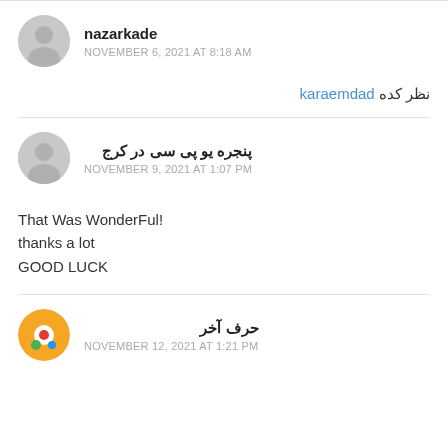nazarkade
NOVEMBER 6, 2021 AT 8:18 AM
نظر کده karaemdad
پنجره یو پی سی در کرج
NOVEMBER 9, 2021 AT 1:07 PM
That Was WonderFul!
thanks a lot
GOOD LUCK
حرف آخر
NOVEMBER 12, 2021 AT 1:21 PM